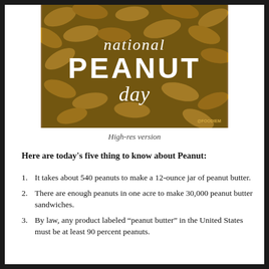[Figure (photo): Background image of peanuts in shells with overlaid text reading 'national PEANUT day' in white, with watermark '@FOODIEM' in bottom right corner]
High-res version
Here are today's five thing to know about Peanut:
It takes about 540 peanuts to make a 12-ounce jar of peanut butter.
There are enough peanuts in one acre to make 30,000 peanut butter sandwiches.
By law, any product labeled “peanut butter” in the United States must be at least 90 percent peanuts.